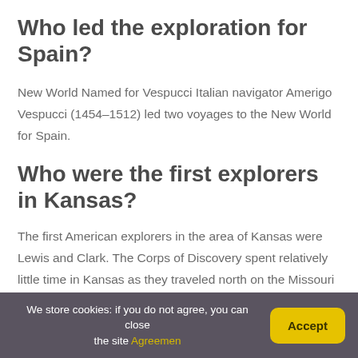Who led the exploration for Spain?
New World Named for Vespucci Italian navigator Amerigo Vespucci (1454–1512) led two voyages to the New World for Spain.
Who were the first explorers in Kansas?
The first American explorers in the area of Kansas were Lewis and Clark. The Corps of Discovery spent relatively little time in Kansas as they traveled north on the Missouri River. William Clark recorded his
We store cookies: if you do not agree, you can close the site Agreemen  Accept